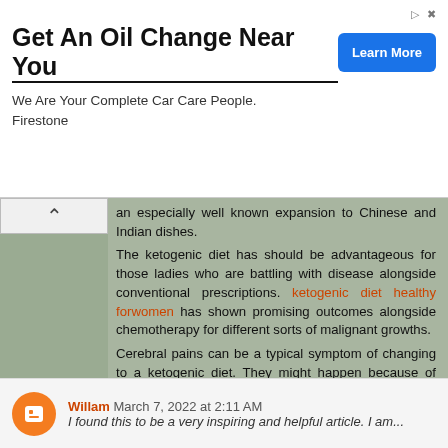[Figure (screenshot): Advertisement banner: 'Get An Oil Change Near You' by Firestone with 'Learn More' button]
an especially well known expansion to Chinese and Indian dishes.
The ketogenic diet has should be advantageous for those ladies who are battling with disease alongside conventional prescriptions. ketogenic diet healthy forwomen has shown promising outcomes alongside chemotherapy for different sorts of malignant growths.
Cerebral pains can be a typical symptom of changing to a ketogenic diet. They might happen because of consuming less starches, particularly sugar. Lack of hydration and electrolyte lopsided characteristics can likewise cause cerebral pains.
Reply
Willam March 7, 2022 at 2:11 AM
I found this to be a very inspiring and helpful article. I am...